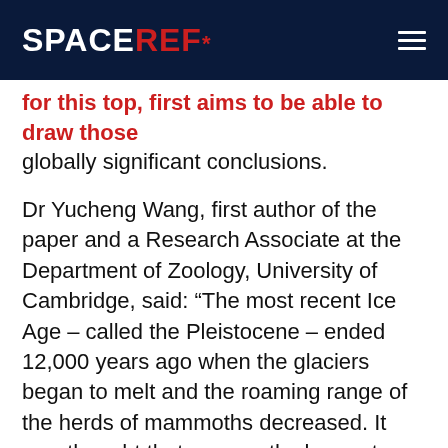SPACEREF*
for this top, first aims to be able to draw those globally significant conclusions.
Dr Yucheng Wang, first author of the paper and a Research Associate at the Department of Zoology, University of Cambridge, said: “The most recent Ice Age – called the Pleistocene – ended 12,000 years ago when the glaciers began to melt and the roaming range of the herds of mammoths decreased. It was thought that mammoths began to go extinct then but we also found they actually survived beyond the Ice Age all in different regions of the Arctic and into the Holocene – the time